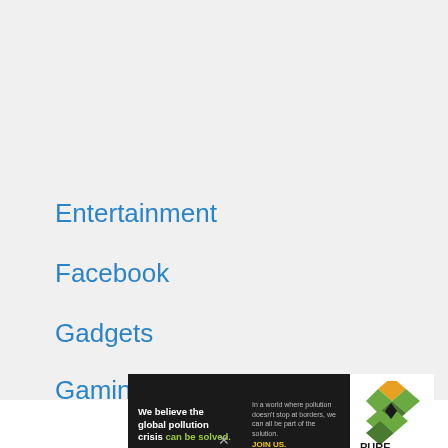Entertainment
Facebook
Gadgets
Gaming
[Figure (infographic): Pure Earth advertisement banner. Black background on left side with white bold text: 'We believe the global pollution crisis can be solved.' (with 'can be solved.' in green). Right side of black area has smaller grey text: 'In a world where pollution doesn’t stop at borders, we can all be part of the solution.' with 'JOIN US.' in yellow/gold. White panel on right shows Pure Earth logo: stacked green/gold diamond chevron shapes with a downward triangle/spade icon, next to bold black text 'PURE EARTH' in two lines.]